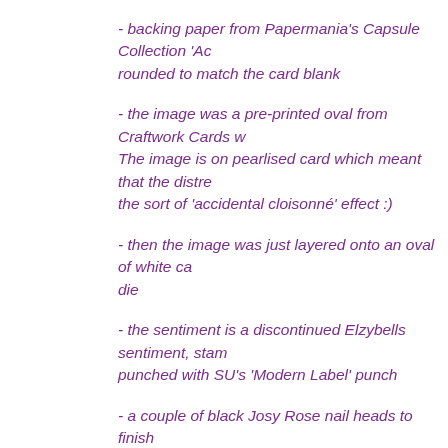- backing paper from Papermania's Capsule Collection 'Ac... rounded to match the card blank
- the image was a pre-printed oval from Craftwork Cards w... The image is on pearlised card which meant that the distre... the sort of 'accidental cloisonné' effect :)
- then the image was just layered onto an oval of white ca... die
- the sentiment is a discontinued Elzybells sentiment, stam... punched with SU's 'Modern Label' punch
- a couple of black Josy Rose nail heads to finish
Isn't hindsight wonderful, I discovered Elzybells not long b... sale but only bought one of everything I could lay my gree... Playground prizes we could have had - sigh :(
Di